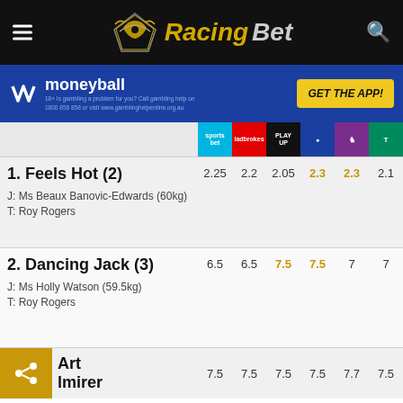[Figure (logo): RacingBet logo with hamburger menu and search icon on black header bar]
[Figure (infographic): Moneyball advertisement banner - blue background with Moneyball logo and GET THE APP! yellow button]
| Runner | Sportsbet | Ladbrokes | PlayUp | Blue | GOAT | TAB |
| --- | --- | --- | --- | --- | --- | --- |
| 1. Feels Hot (2) J: Ms Beaux Banovic-Edwards (60kg) T: Roy Rogers | 2.25 | 2.2 | 2.05 | 2.3 | 2.3 | 2.1 |
| 2. Dancing Jack (3) J: Ms Holly Watson (59.5kg) T: Roy Rogers | 6.5 | 6.5 | 7.5 | 7.5 | 7 | 7 |
| 3. Art Admirer | 7.5 | 7.5 | 7.5 | 7.5 | 7.7 | 7.5 |